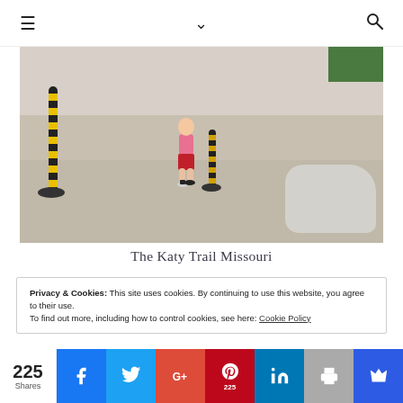≡  ∨  🔍
[Figure (photo): A child in a pink top and red shorts walking away on a paved trail path, with black and yellow bollard poles visible, plastic bags on the right, and a gravel road area. Taken on the Katy Trail Missouri.]
The Katy Trail Missouri
Privacy & Cookies: This site uses cookies. By continuing to use this website, you agree to their use.
To find out more, including how to control cookies, see here: Cookie Policy
225 Shares